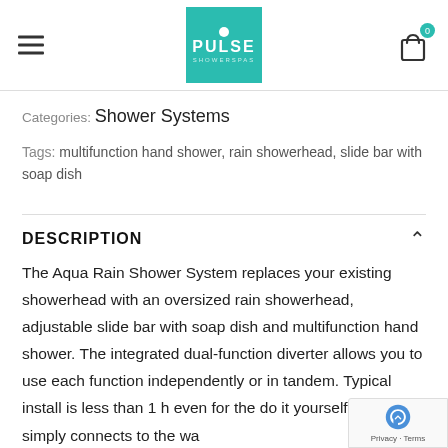PULSE — Shower Systems
Categories: Shower Systems
Tags: multifunction hand shower, rain showerhead, slide bar with soap dish
DESCRIPTION
The Aqua Rain Shower System replaces your existing showerhead with an oversized rain showerhead, adjustable slide bar with soap dish and multifunction hand shower. The integrated dual-function diverter allows you to use each function independently or in tandem. Typical install is less than 1 h even for the do it yourselfer. It simply connects to the wa